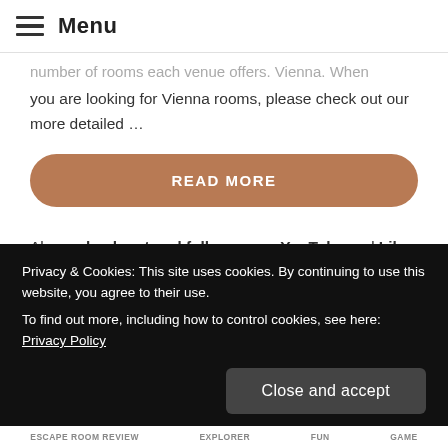Menu
number of rooms each venue offers. Vienna. When you are looking for Vienna rooms, please check out our more detailed …
READ MORE
Also – check out and follow us on YouTube and Like our Facebook Page to stay up-to-date about our posts. Or check out our other Bears' Escape Reviews in our Escape Room Guide.
Privacy & Cookies: This site uses cookies. By continuing to use this website, you agree to their use.
To find out more, including how to control cookies, see here: Privacy Policy
Close and accept
ESCAPE ROOM REVIEW   EXPLORER   FUN   GAME